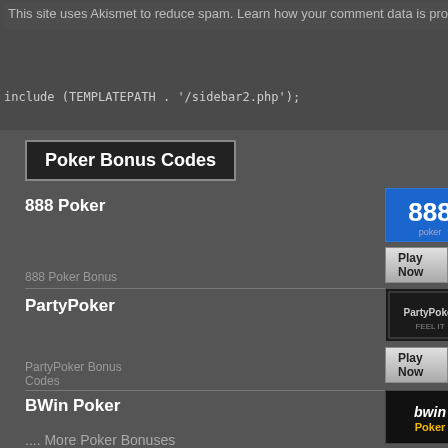This site uses Akismet to reduce spam. Learn how your comment data is processed.
include (TEMPLATEPATH . '/sidebar2.php');
Poker Bonus Codes
888 Poker
[Figure (logo): 888 poker logo - blue background with 888 text]
Play Now
888 Poker Bonus
PartyPoker
[Figure (logo): PartyPoker logo - black background]
Play Now
PartyPoker Bonus Codes
BWin Poker
[Figure (logo): BWin Poker logo - black background with bwin and yellow Poker text]
Play Now
BWin Poker Bonus
.... More Poker Bonuses
Casino Bonus Code